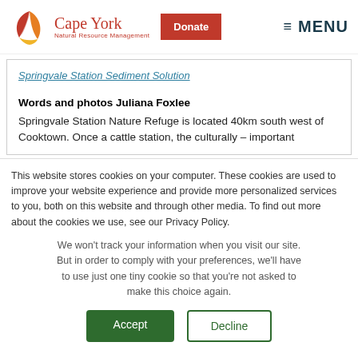Cape York Natural Resource Management — Donate | MENU
Springvale Station Sediment Solution
Words and photos Juliana Foxlee
Springvale Station Nature Refuge is located 40km south west of Cooktown. Once a cattle station, the culturally – important
This website stores cookies on your computer. These cookies are used to improve your website experience and provide more personalized services to you, both on this website and through other media. To find out more about the cookies we use, see our Privacy Policy.
We won't track your information when you visit our site. But in order to comply with your preferences, we'll have to use just one tiny cookie so that you're not asked to make this choice again.
Accept
Decline